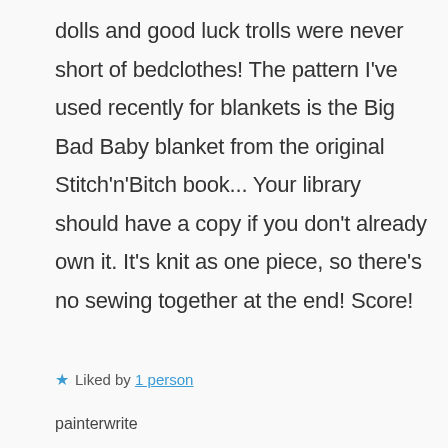dolls and good luck trolls were never short of bedclothes! The pattern I've used recently for blankets is the Big Bad Baby blanket from the original Stitch'n'Bitch book... Your library should have a copy if you don't already own it. It's knit as one piece, so there's no sewing together at the end! Score!
★ Liked by 1 person
painterwrite